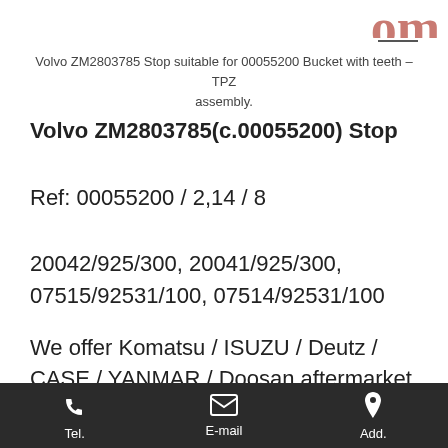[Figure (logo): Partial logo/brand text in red/pink at top right corner]
Volvo ZM2803785 Stop suitable for 00055200 Bucket with teeth – TPZ assembly.
Volvo ZM2803785(c.00055200) Stop
Ref: 00055200 / 2,14 / 8
20042/925/300, 20041/925/300, 07515/92531/100, 07514/92531/100
We offer Komatsu / ISUZU / Deutz / CASE / YANMAR / Doosan aftermarket parts. MOQ 1 pcs is available! VOLVO Part NO.ZM2803785 is on sale now!
Part NO. ZM2803785 for Volvo L45B/S/N:1941500 – S/N
Tel.   E-mail   Add.